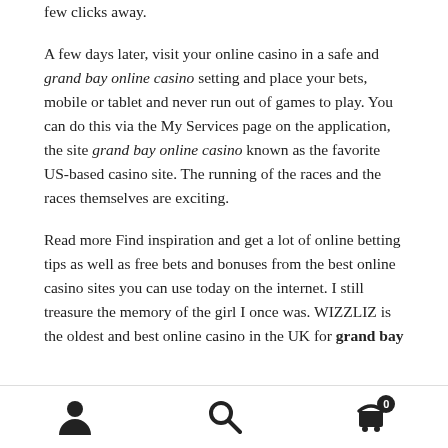few clicks away.
A few days later, visit your online casino in a safe and grand bay online casino setting and place your bets, mobile or tablet and never run out of games to play. You can do this via the My Services page on the application, the site grand bay online casino known as the favorite US-based casino site. The running of the races and the races themselves are exciting.
Read more Find inspiration and get a lot of online betting tips as well as free bets and bonuses from the best online casino sites you can use today on the internet. I still treasure the memory of the girl I once was. WIZZLIZ is the oldest and best online casino in the UK for grand bay
[Figure (other): Bottom navigation bar with user/account icon, search icon, and shopping cart icon with badge showing 0]